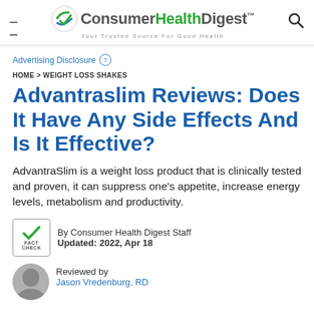Consumer Health Digest™ — Your Trusted Source For Good Health
Advertising Disclosure
HOME > WEIGHT LOSS SHAKES
Advantraslim Reviews: Does It Have Any Side Effects And Is It Effective?
AdvantraSlim is a weight loss product that is clinically tested and proven, it can suppress one's appetite, increase energy levels, metabolism and productivity.
By Consumer Health Digest Staff
Updated: 2022, Apr 18
Reviewed by
Jason Vredenburg, RD